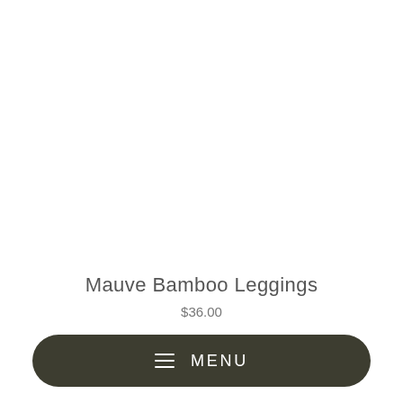[Figure (photo): White product image area — large blank white space for product photo]
Mauve Bamboo Leggings
$36.00
≡  MENU